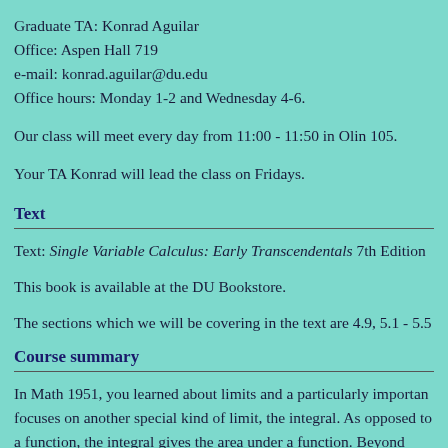Graduate TA: Konrad Aguilar
Office: Aspen Hall 719
e-mail: konrad.aguilar@du.edu
Office hours: Monday 1-2 and Wednesday 4-6.
Our class will meet every day from 11:00 - 11:50 in Olin 105.
Your TA Konrad will lead the class on Fridays.
Text
Text: Single Variable Calculus: Early Transcendentals 7th Edition
This book is available at the DU Bookstore.
The sections which we will be covering in the text are 4.9, 5.1 - 5.5
Course summary
In Math 1951, you learned about limits and a particularly important focuses on another special kind of limit, the integral. As opposed to a function, the integral gives the area under a function. Beyond mea use the integral to compute many important quantities, such as the curve, or the amount of work (as studied in physics) done by exerti